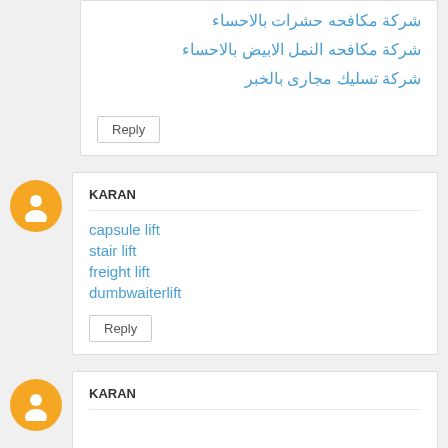شركة مكافحه حشرات بالاحساء
شركة مكافحه النمل الابيض بالاحساء
شركة تسليك مجارى بالخبر
Reply
KARAN
capsule lift
stair lift
freight lift
dumbwaiterlift
Reply
KARAN